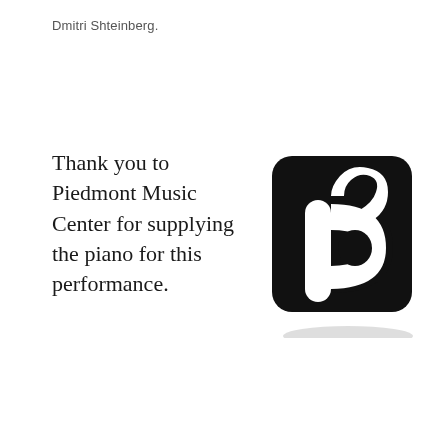Dmitri Shteinberg.
Thank you to Piedmont Music Center for supplying the piano for this performance.
[Figure (logo): Piedmont Music Center logo: a black rounded-square containing a white stylized letter P shaped like a musical note/horn, on a white background with a subtle shadow.]